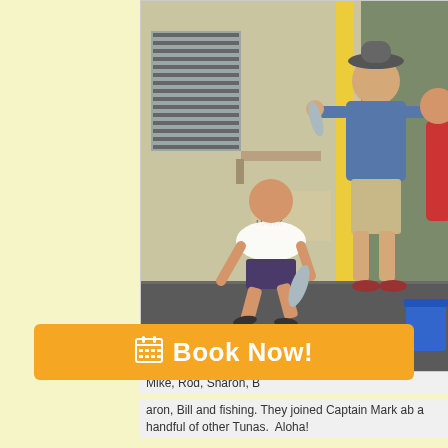[Figure (photo): Group of people posing on a dock with caught fish. One man squatting in center holding a fish giving a shaka sign, another man standing behind wearing a hat and blue shirt giving thumbs up holding a fish, a person in red shirt partially visible on right, blue bucket visible at right. Background shows a fishing charter building with yellow poles.]
Mike, Rod, Sharon, B
aron, Bill and fishing. They joined Captain Mark ab a handful of other Tunas. Aloha!